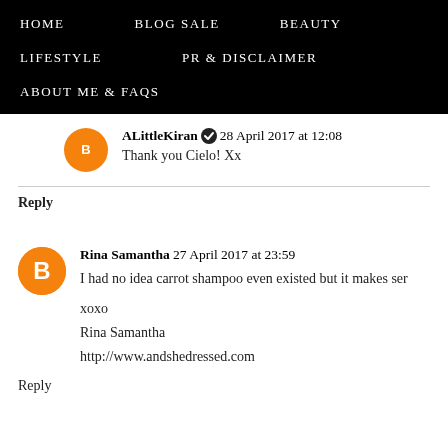HOME   BLOG SALE   BEAUTY   LIFESTYLE   PR & DISCLAIMER   ABOUT ME & FAQs
ALittleKiran ✔ 28 April 2017 at 12:08
Thank you Cielo! Xx
Reply
Rina Samantha 27 April 2017 at 23:59
I had no idea carrot shampoo even existed but it makes se…

xoxo
Rina Samantha
http://www.andshedressed.com
Reply